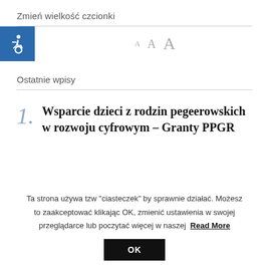Zmień wielkość czcionki
[Figure (infographic): Accessibility icon (wheelchair symbol) in blue square next to font size selector showing A A A in increasing sizes]
Ostatnie wpisy
1. Wsparcie dzieci z rodzin pegeerowskich w rozwoju cyfrowym – Granty PPGR
Ta strona używa tzw "ciasteczek" by sprawnie działać. Możesz to zaakceptować klikając OK, zmienić ustawienia w swojej przeglądarce lub poczytać więcej w naszej Read More
OK